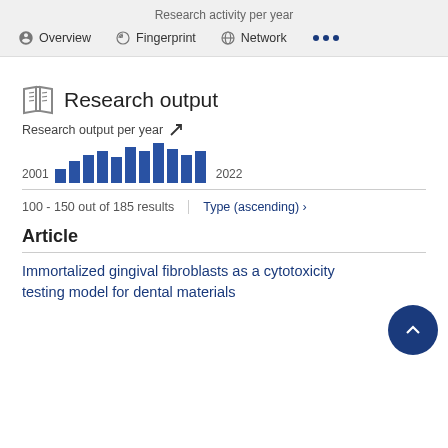Research activity per year
Overview   Fingerprint   Network   ...
Research output
Research output per year
[Figure (bar-chart): Research output per year]
100 - 150 out of 185 results
Type (ascending) ›
Article
Immortalized gingival fibroblasts as a cytotoxicity testing model for dental materials